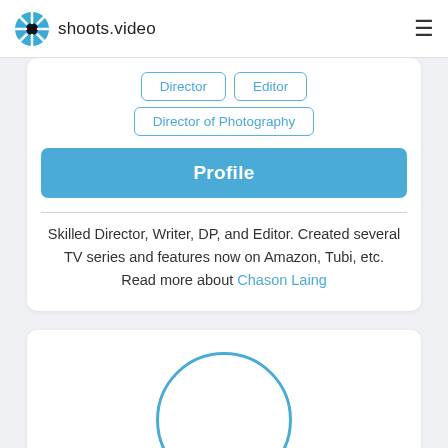shoots.video
Director
Editor
Director of Photography
Profile
Skilled Director, Writer, DP, and Editor. Created several TV series and features now on Amazon, Tubi, etc. Read more about Chason Laing
[Figure (photo): Circular avatar placeholder with blue border, partially visible at bottom of page]